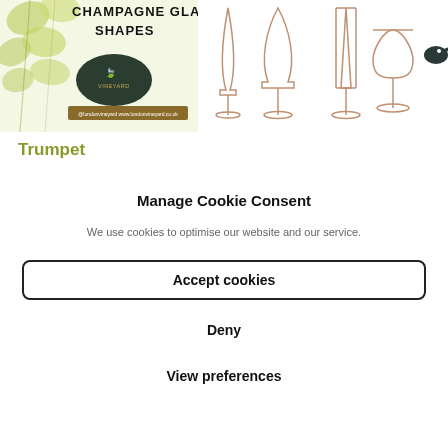[Figure (illustration): Champagne Glasses Shapes infographic showing vineyard logo and outline drawings of four champagne glass styles (flute, tulip, straight, coupe) in rose-gold tones against a light background with grape vine leaves.]
Trumpet
Manage Cookie Consent
We use cookies to optimise our website and our service.
Accept cookies
Deny
View preferences